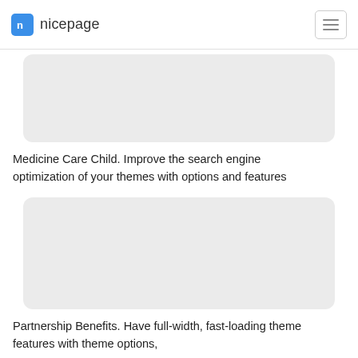nicepage
[Figure (other): Gray rounded rectangle placeholder image for Medicine Care Child card]
Medicine Care Child. Improve the search engine optimization of your themes with options and features
[Figure (other): Gray rounded rectangle placeholder image for Partnership Benefits card]
Partnership Benefits. Have full-width, fast-loading theme features with theme options,